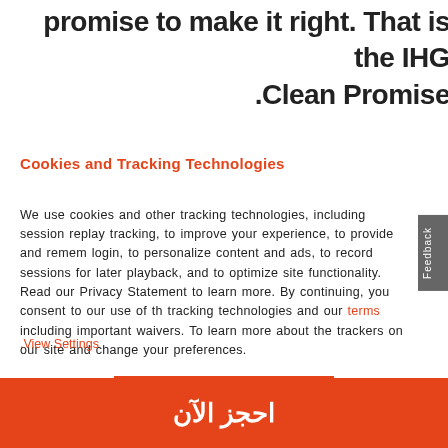promise to make it right. That is the IHG Clean Promise.
Cookies and Tracking Technologies
We use cookies and other tracking technologies, including session replay tracking, to improve your experience, to provide and remember login, to personalize content and ads, to record sessions for later playback, and to optimize site functionality. Read our Privacy Statement to learn more. By continuing, you consent to our use of these tracking technologies and our terms including important waivers. To learn more about the trackers on our site and change your preferences.
View Settings.
ACCEPT
احجز الآن